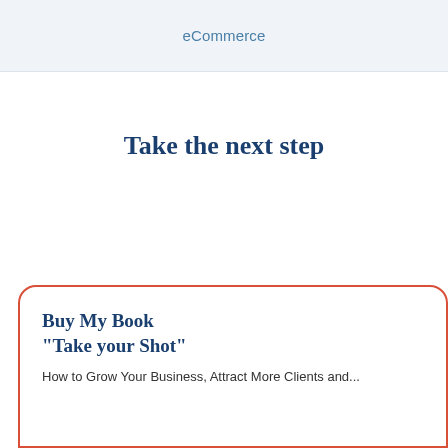eCommerce
Take the next step
Buy My Book "Take your Shot"
How to Grow Your Business, Attract More Clients and...